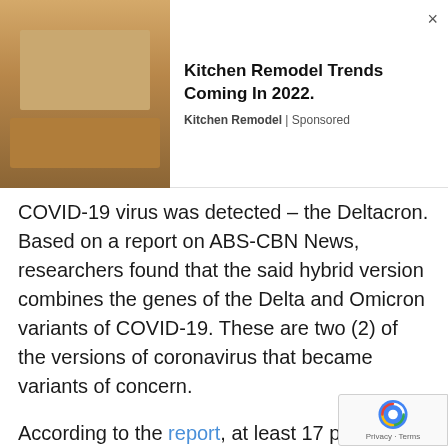[Figure (screenshot): Advertisement banner showing a kitchen remodel image on the left and ad text on the right with title 'Kitchen Remodel Trends Coming In 2022.' and source 'Kitchen Remodel | Sponsored' with a close button (×).]
COVID-19 virus was detected – the Deltacron. Based on a report on ABS-CBN News, researchers found that the said hybrid version combines the genes of the Delta and Omicron variants of COVID-19. These are two (2) of the versions of coronavirus that became variants of concern.
According to the report, at least 17 patients in the United States and Europe were identified to have been infected by the Deltacron variant. According to Philippe Colson of IHU Mediterranee Infection in Marseille, France, too soon to know about the behavior of this hybrid version of COVID-19 as there are only a few